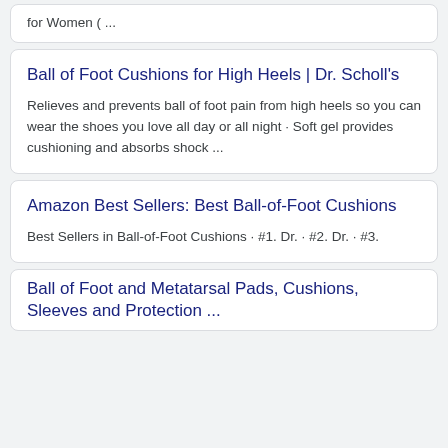for Women ( ...
Ball of Foot Cushions for High Heels | Dr. Scholl's
Relieves and prevents ball of foot pain from high heels so you can wear the shoes you love all day or all night · Soft gel provides cushioning and absorbs shock ...
Amazon Best Sellers: Best Ball-of-Foot Cushions
Best Sellers in Ball-of-Foot Cushions · #1. Dr. · #2. Dr. · #3.
Ball of Foot and Metatarsal Pads, Cushions, Sleeves and Protection ...